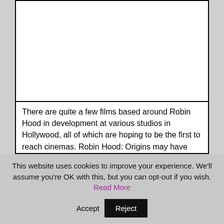[Figure (other): Image placeholder area with white background and black border]
There are quite a few films based around Robin Hood in development at various studios in Hollywood, all of which are hoping to be the first to reach cinemas. Robin Hood: Origins may have started to move ahead of the pack, as Deadline reports that Taron Egerton is now in talks to play the title role.
This website uses cookies to improve your experience. We'll assume you're OK with this, but you can opt-out if you wish. Read More Accept Reject